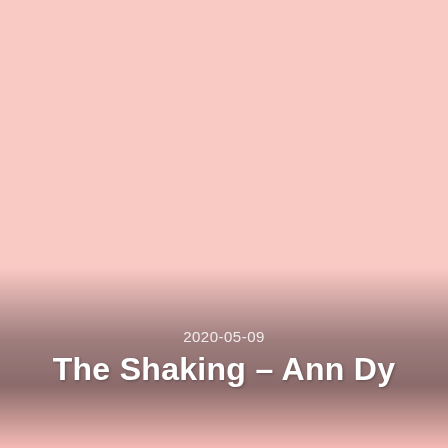[Figure (illustration): Book or album cover with a light pink (blush) background taking up most of the page. The lower portion has a gradient band transitioning from pink through brownish-gray back to pink, creating a decorative footer band. White text centered in the lower area shows a date and title.]
2020-05-09
The Shaking – Ann Dy